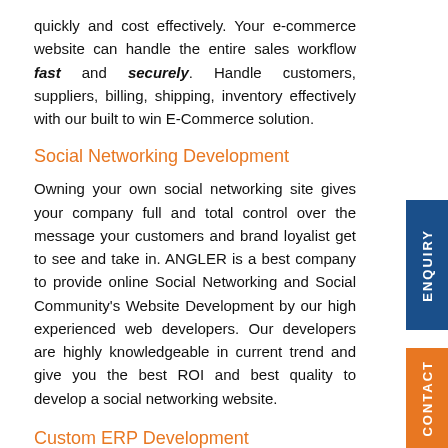quickly and cost effectively. Your e-commerce website can handle the entire sales workflow fast and securely. Handle customers, suppliers, billing, shipping, inventory effectively with our built to win E-Commerce solution.
Social Networking Development
Owning your own social networking site gives your company full and total control over the message your customers and brand loyalist get to see and take in. ANGLER is a best company to provide online Social Networking and Social Community's Website Development by our high experienced web developers. Our developers are highly knowledgeable in current trend and give you the best ROI and best quality to develop a social networking website.
Custom ERP Development
We offer services in all phases of the ERP life cycle. As example we can assist with your ERP Strategy, Package Selection, Implementation as well as ERP Outsourcing and Production